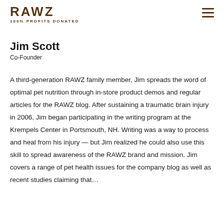[Figure (logo): RAWZ logo with text 'RAWZ' in large bold letters and tagline '100% PROFITS DONATED']
Jim Scott
Co-Founder
A third-generation RAWZ family member, Jim spreads the word of optimal pet nutrition through in-store product demos and regular articles for the RAWZ blog. After sustaining a traumatic brain injury in 2006, Jim began participating in the writing program at the Krempels Center in Portsmouth, NH. Writing was a way to process and heal from his injury — but Jim realized he could also use this skill to spread awareness of the RAWZ brand and mission. Jim covers a range of pet health issues for the company blog as well as recent studies claiming that…